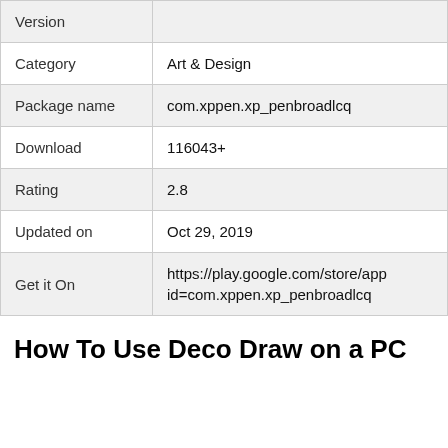| Field | Value |
| --- | --- |
| Version |  |
| Category | Art & Design |
| Package name | com.xppen.xp_penbroadlcq |
| Download | 116043+ |
| Rating | 2.8 |
| Updated on | Oct 29, 2019 |
| Get it On | https://play.google.com/store/app id=com.xppen.xp_penbroadlcq |
How To Use Deco Draw on a PC